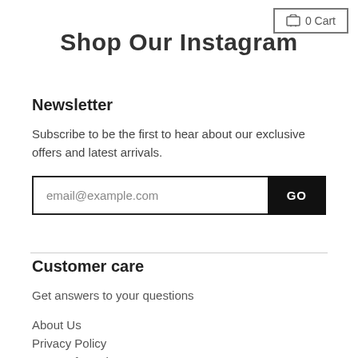🛒 0 Cart
Shop Our Instagram
Newsletter
Subscribe to be the first to hear about our exclusive offers and latest arrivals.
email@example.com  GO
Customer care
Get answers to your questions
About Us
Privacy Policy
Terms of Service